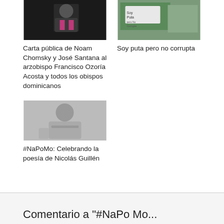[Figure (photo): Photo of a person in dark clothing with pink accents against a dark background]
Carta pública de Noam Chomsky y José Santana al arzobispo Francisco Ozoría Acosta y todos los obispos dominicanos
[Figure (photo): Photo showing a protest sign reading 'Soy puta pero no corrupta' with people around it]
Soy puta pero no corrupta
[Figure (photo): Black and white photo of an elderly man, likely Nicolás Guillén, seated and looking to the side]
#NaPoMo: Celebrando la poesía de Nicolás Guillén
Comentario a "#NaPo Mo...